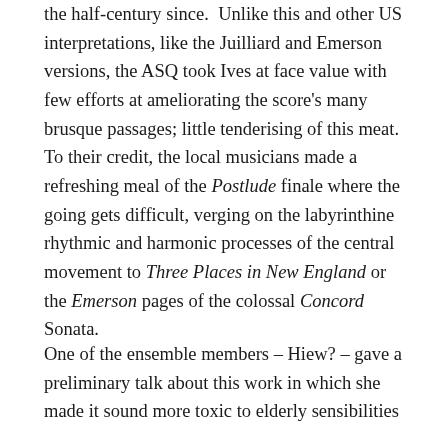the half-century since.  Unlike this and other US interpretations, like the Juilliard and Emerson versions, the ASQ took Ives at face value with few efforts at ameliorating the score's many brusque passages; little tenderising of this meat.   To their credit, the local musicians made a refreshing meal of the Postlude finale where the going gets difficult, verging on the labyrinthine rhythmic and harmonic processes of the central movement to Three Places in New England or the Emerson pages of the colossal Concord Sonata.
One of the ensemble members – Hiew? – gave a preliminary talk about this work in which she made it sound more toxic to elderly sensibilities